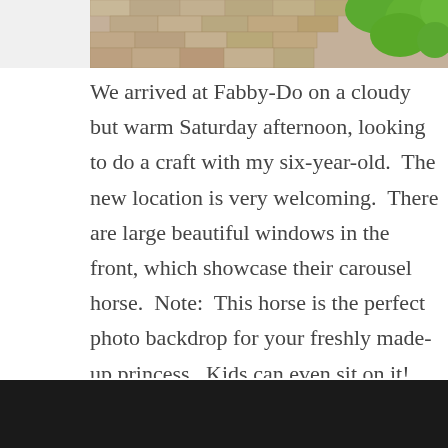[Figure (photo): Partial photo showing brick/stone pavers and green foliage at top of page]
We arrived at Fabby-Do on a cloudy but warm Saturday afternoon, looking to do a craft with my six-year-old.  The new location is very welcoming.  There are large beautiful windows in the front, which showcase their carousel horse.  Note:  This horse is the perfect photo backdrop for your freshly made-up princess.  Kids can even sit on it!  Since the weather was nice that day, the door was wide open so we could see the colorful, vintage goodness that awaited us inside.